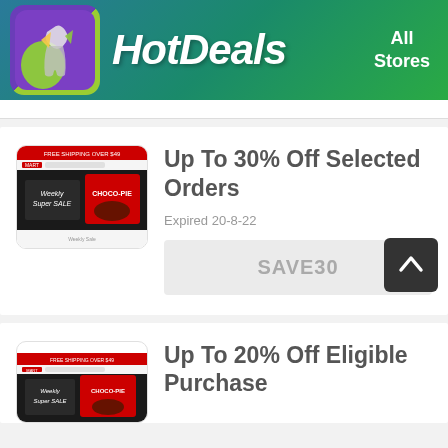HotDeals — All Stores
[Figure (screenshot): Store website screenshot thumbnail showing Weekly Super SALE and Choco-Pie products]
Up To 30% Off Selected Orders
Expired 20-8-22
SAVE30
[Figure (screenshot): Store website screenshot thumbnail showing Weekly Super SALE and Choco-Pie products]
Up To 20% Off Eligible Purchase